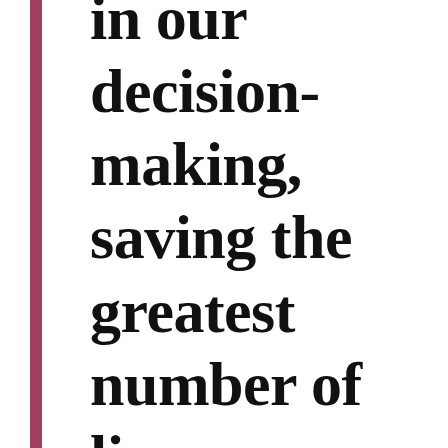in our decision-making, saving the greatest number of li...